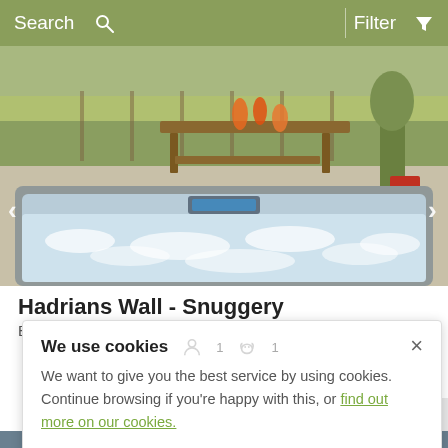Search  Filter
[Figure (photo): Outdoor hot tub with bubbling water in the foreground and a wooden picnic table with orange drinks in the background, surrounded by garden fencing and greenery.]
Hadrians Wall - Snuggery
Brampton (2.5mls NW), Lake District
We use cookies
We want to give you the best service by using cookies. Continue browsing if you're happy with this, or find out more on our cookies.
£453-£818